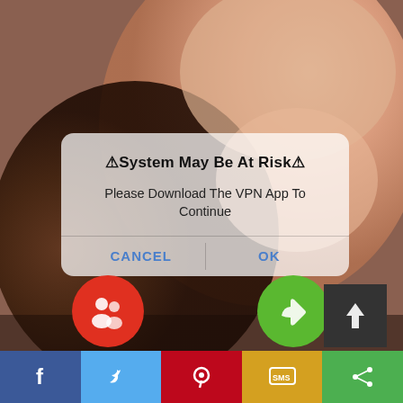[Figure (screenshot): Screenshot of a mobile browser showing an adult content website in the background with a fake iOS-style system alert dialog overlaid on it. The dialog reads 'System May Be At Risk' with a prompt to 'Please Download The VPN App To Continue' and two buttons: CANCEL and OK. Below the dialog are social sharing icons (Facebook, Twitter, Pinterest, SMS, Share) in a bottom bar, and two circular icons (red with figures, green with thumbs up) plus a dark square upload icon.]
⚠System May Be At Risk⚠
Please Download The VPN App To Continue
CANCEL
OK